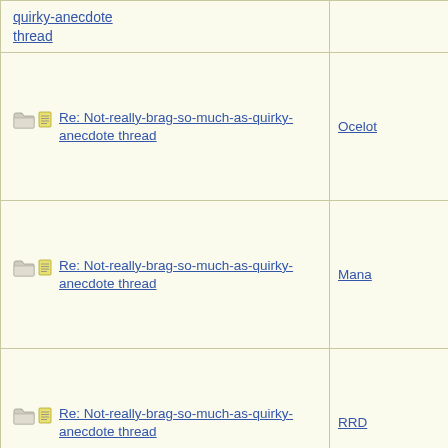| Subject | Author |
| --- | --- |
| quirky-anecdote thread |  |
| Re: Not-really-brag-so-much-as-quirky-anecdote thread | Ocelot |
| Re: Not-really-brag-so-much-as-quirky-anecdote thread | Mana |
| Re: Not-really-brag-so-much-as-quirky-anecdote thread | RRD |
| Re: Not-really-brag-so-much-as-quirky-anecdote thread | NotherBe |
| Re: Not-really-brag-so-much-as-quirky-anecdote thread | greenlotu |
| Re: Not-really-brag-so-much-as-quirky-anecdote thread | greenlotu |